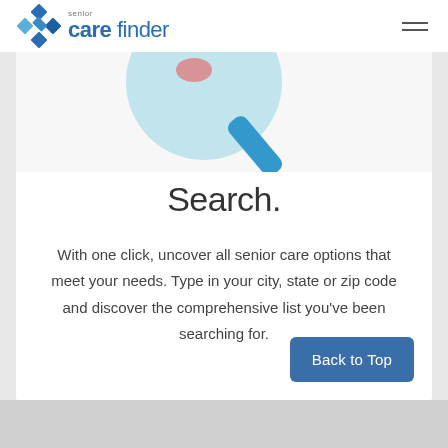senior care finder
[Figure (illustration): Partial illustration of a magnifying glass with light blue circle and blue handle, cropped at top]
Search.
With one click, uncover all senior care options that meet your needs. Type in your city, state or zip code and discover the comprehensive list you've been searching for.
Back to Top